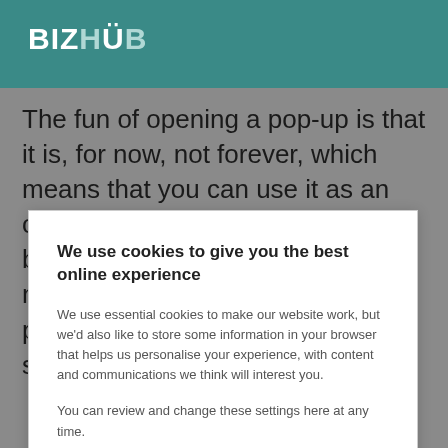BIZHÜB
The fun of opening a pop-up is that it is, for now, not forever, which means that you can use it as an opportunity to experiment. So be bold and try out new product lines, new branding, new pricing, new packaging and new ways of selling. This is the perfect
We use cookies to give you the best online experience
We use essential cookies to make our website work, but we'd also like to store some information in your browser that helps us personalise your experience, with content and communications we think will interest you.
You can review and change these settings here at any time.
XLN | Cookie Policy